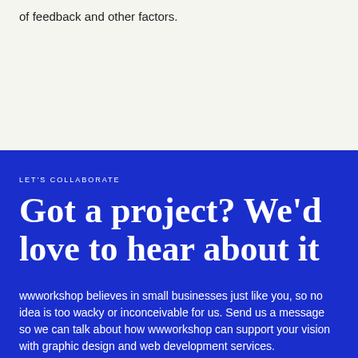of feedback and other factors.
LET'S COLLABORATE
Got a project? We'd love to hear about it
wwworkshop believes in small businesses just like you, so no idea is too wacky or inconceivable for us. Send us a message so we can talk about how wwworkshop can support your vision with graphic design and web development services.